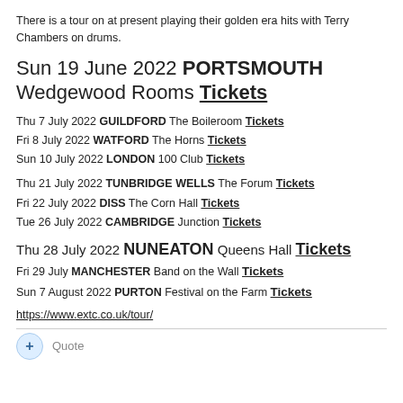There is a tour on at present playing their golden era hits with Terry Chambers on drums.
Sun 19 June 2022 PORTSMOUTH Wedgewood Rooms Tickets
Thu 7 July 2022 GUILDFORD The Boileroom Tickets
Fri 8 July 2022 WATFORD The Horns Tickets
Sun 10 July 2022 LONDON 100 Club Tickets
Thu 21 July 2022 TUNBRIDGE WELLS The Forum Tickets
Fri 22 July 2022 DISS The Corn Hall Tickets
Tue 26 July 2022 CAMBRIDGE Junction Tickets
Thu 28 July 2022 NUNEATON Queens Hall Tickets
Fri 29 July MANCHESTER Band on the Wall Tickets
Sun 7 August 2022 PURTON Festival on the Farm Tickets
https://www.extc.co.uk/tour/